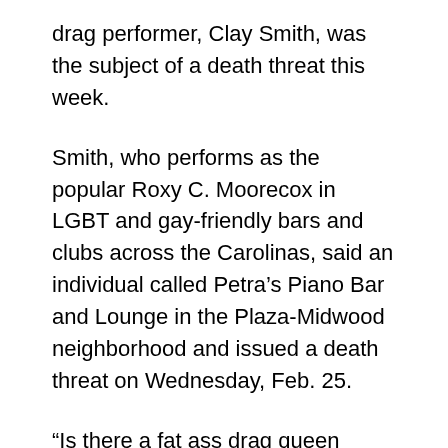drag performer, Clay Smith, was the subject of a death threat this week.
Smith, who performs as the popular Roxy C. Moorecox in LGBT and gay-friendly bars and clubs across the Carolinas, said an individual called Petra’s Piano Bar and Lounge in the Plaza-Midwood neighborhood and issued a death threat on Wednesday, Feb. 25.
“Is there a fat ass drag queen named Roxy C. Moorecox there,” the voice on the line asked Smith’s boyfriend Cody Bailey, who works the bar’s door and answers the phone. “Tell her if she walks outside she’s dead.”